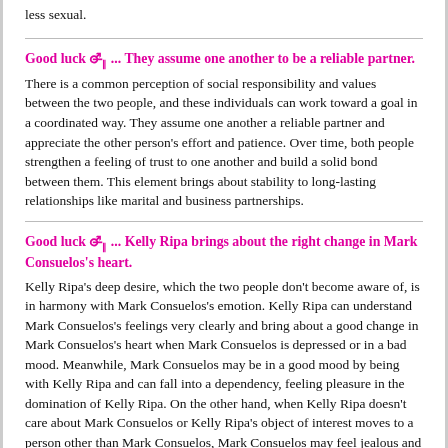less sexual.
Good luck ♀︎ ... They assume one another to be a reliable partner.
There is a common perception of social responsibility and values between the two people, and these individuals can work toward a goal in a coordinated way. They assume one another a reliable partner and appreciate the other person's effort and patience. Over time, both people strengthen a feeling of trust to one another and build a solid bond between them. This element brings about stability to long-lasting relationships like marital and business partnerships.
Good luck ♀︎ ... Kelly Ripa brings about the right change in Mark Consuelos's heart.
Kelly Ripa's deep desire, which the two people don't become aware of, is in harmony with Mark Consuelos's emotion. Kelly Ripa can understand Mark Consuelos's feelings very clearly and bring about a good change in Mark Consuelos's heart when Mark Consuelos is depressed or in a bad mood. Meanwhile, Mark Consuelos may be in a good mood by being with Kelly Ripa and can fall into a dependency, feeling pleasure in the domination of Kelly Ripa. On the other hand, when Kelly Ripa doesn't care about Mark Consuelos or Kelly Ripa's object of interest moves to a person other than Mark Consuelos, Mark Consuelos may feel jealous and become cranky and frustrated.
Good luck ♀︎ ... Mark Consuelos makes Kelly Ripa think more sensibly.
Mark Consuelos always behaves as if Mark Consuelos were a superior being like a father figure to Kelly Ripa. Besides, Mark Consuelos tries to lead mercury by